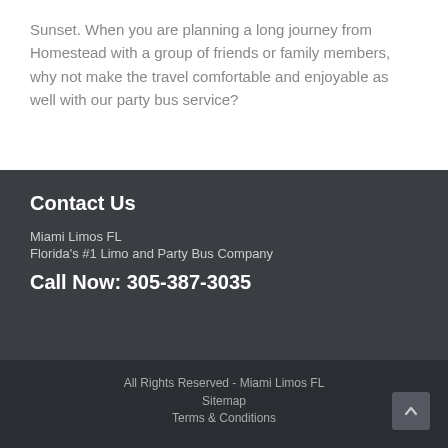Sunset. When you are planning a long journey from Homestead with a group of friends or family members, why not make the travel comfortable and enjoyable as well with our party bus service?
Contact Us
Miami Limos FL
Florida's #1 Limo and Party Bus Company
Call Now: 305-387-3035
All Rights Reserved - Miami Limos FL
Sitemap
Terms & Conditions